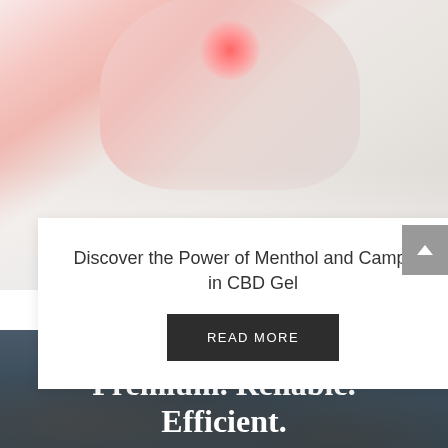[Figure (photo): Photo of a person touching their shoulder/arm area with a red inflammation spot visible, wearing a white top]
Discover the Power of Menthol and Camphor in CBD Gel
READ MORE
[Figure (photo): Dark background photo showing hands holding a CBD dropper bottle]
Premium. Reliable. Efficient.